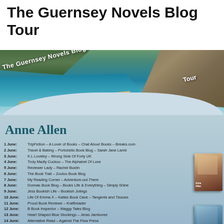The Guernsey Novels Blog Tour
[Figure (photo): Promotional banner image for The Guernsey Novels Blog Tour by Anne Allen. Shows a coastal scene with cliffs, turquoise water, and a sandy beach. Text reads 'The Guernsey Novels Blog Tour' overlaid on the image. Below is the author name 'Anne Allen' in teal serif font, followed by a schedule of blog stops from 1 June to 14 June, with book stack images on the right side.]